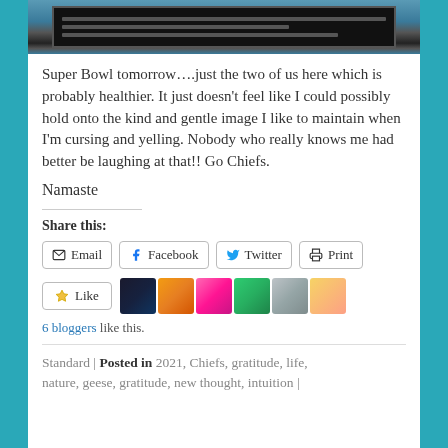[Figure (photo): Photo of a wooden bench or slatted structure against a wintry blue background]
Super Bowl tomorrow….just the two of us here which is probably healthier. It just doesn't feel like I could possibly hold onto the kind and gentle image I like to maintain when I'm cursing and yelling. Nobody who really knows me had better be laughing at that!! Go Chiefs.
Namaste
Share this:
Email | Facebook | Twitter | Print
[Figure (photo): Like button and 6 blogger avatars]
6 bloggers like this.
Standard | Posted in 2021, Chiefs, gratitude, life, nature, geese, gratitude, new thought, intuition |